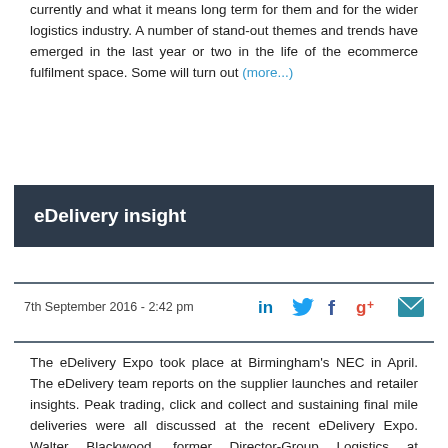currently and what it means long term for them and for the wider logistics industry. A number of stand-out themes and trends have emerged in the last year or two in the life of the ecommerce fulfilment space. Some will turn out (more...)
eDelivery insight
7th September 2016 - 2:42 pm
The eDelivery Expo took place at Birmingham's NEC in April. The eDelivery team reports on the supplier launches and retailer insights. Peak trading, click and collect and sustaining final mile deliveries were all discussed at the recent eDelivery Expo. Walter Blackwood, former Director-Group Logistics at Mothercare opened the conference with (more...)